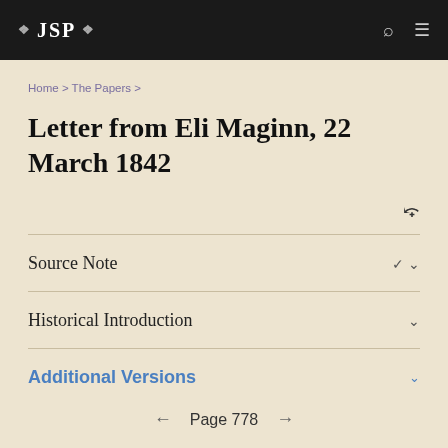❖ JSP ❖
Home > The Papers >
Letter from Eli Maginn, 22 March 1842
Source Note
Historical Introduction
Additional Versions
← Page 778 →